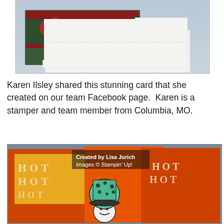[Figure (photo): Photo of a handmade pop-up card with floral design on dark green and red background, opened to show the inside, placed on a white surface with a light blue/grey background.]
Karen Ilsley shared this stunning card that she created on our team Facebook page.  Karen is a stamper and team member from Columbia, MO.
[Figure (photo): Photo of handmade stamp art cards showing 'HOT' letters repeated in distressed style on orange and yellow backgrounds, with a snowman figure wearing a polka-dot hat. Text overlay reads 'Created by Lisa Jurich, Images © Stampin' Up!']